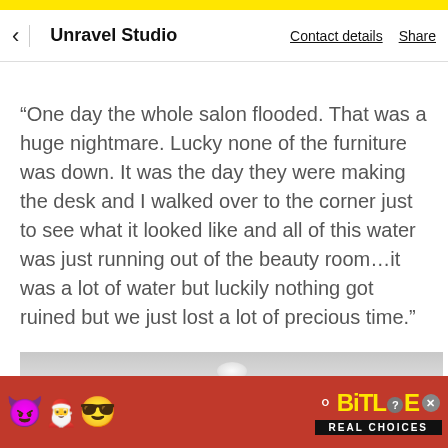Unravel Studio   Contact details   Share
“One day the whole salon flooded. That was a huge nightmare. Lucky none of the furniture was down. It was the day they were making the desk and I walked over to the corner just to see what it looked like and all of this water was just running out of the beauty room…it was a lot of water but luckily nothing got ruined but we just lost a lot of precious time.”
[Figure (photo): Partial view of an interior room with a ceiling light visible against a light grey/white ceiling]
[Figure (screenshot): BitLife app advertisement banner with emojis (devil, person with raised hands, angel face), sperm icon, BitLife logo in yellow on red background, and REAL CHOICES tagline in black box]